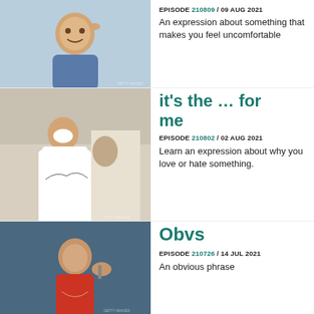[Figure (photo): Man in blue sweater smiling and scratching his head]
EPISODE 210809 / 09 AUG 2021
An expression about something that makes you feel uncomfortable
[Figure (photo): Chef in white uniform holding a fish and pinching his nose]
it's the … for me
EPISODE 210802 / 02 AUG 2021
Learn an expression about why you love or hate something.
[Figure (photo): Woman in red jacket on phone with hand out, blue background]
Obvs
EPISODE 210726 / 14 JUL 2021
An obvious phrase
[Figure (photo): Person with yellow head covering, dark background]
Down / up for